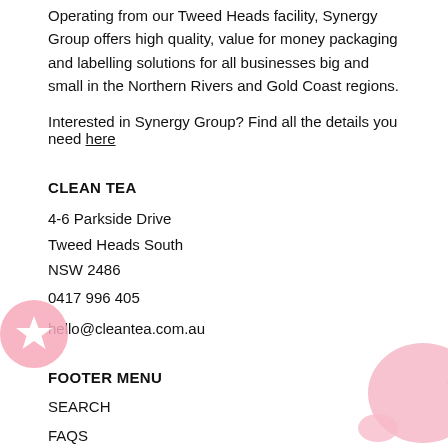Operating from our Tweed Heads facility, Synergy Group offers high quality, value for money packaging and labelling solutions for all businesses big and small in the Northern Rivers and Gold Coast regions.
Interested in Synergy Group? Find all the details you need here
CLEAN TEA
4-6 Parkside Drive
Tweed Heads South
NSW 2486
0417 996 405
hello@cleantea.com.au
FOOTER MENU
SEARCH
FAQS
PRIVACY